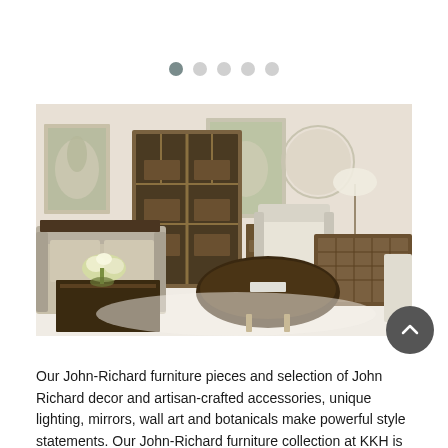[Figure (other): Carousel navigation dots — five circles, first one filled dark, rest grey]
[Figure (photo): Interior room setting showcasing John-Richard furniture: sofas, armchairs, dark wood tables, geometric display cabinet, circular mirror, framed wall art, table lamps, and woven sideboard with elegant cream and gold tones]
Our John-Richard furniture pieces and selection of John Richard decor and artisan-crafted accessories, unique lighting, mirrors, wall art and botanicals make powerful style statements. Our John-Richard furniture collection at KKH is the perfect fusion of innovation, craftsmanship and groundbreaking design. These